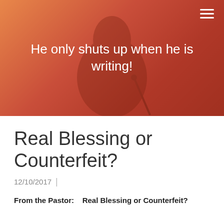[Figure (photo): A person speaking at a podium/microphone against an orange-red gradient background, serving as the website header image.]
He only shuts up when he is writing!
Real Blessing or Counterfeit?
12/10/2017
From the Pastor:    Real Blessing or Counterfeit?